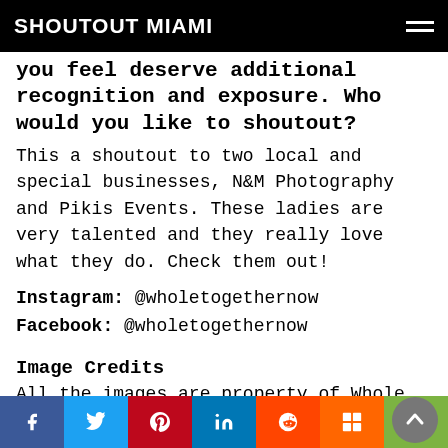SHOUTOUT MIAMI
you feel deserve additional recognition and exposure. Who would you like to shoutout?
This a shoutout to two local and special businesses, N&M Photography and Pikis Events. These ladies are very talented and they really love what they do. Check them out!
Instagram: @wholetogethernow
Facebook: @wholetogethernow
Image Credits
All the images are property of Whole Together Now.